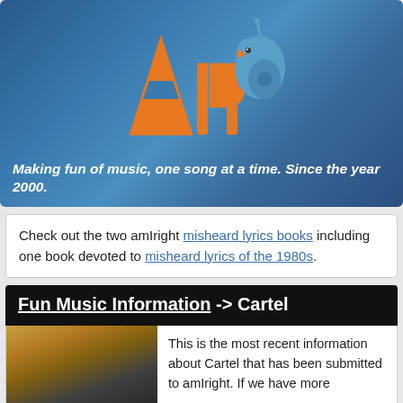[Figure (logo): amIright website logo with orange stylized text 'ami' and blue bird/guitar character, on blue gradient background with tagline 'Making fun of music, one song at a time. Since the year 2000.']
Check out the two amIright misheard lyrics books including one book devoted to misheard lyrics of the 1980s.
Fun Music Information -> Cartel
This is the most recent information about Cartel that has been submitted to amIright. If we have more